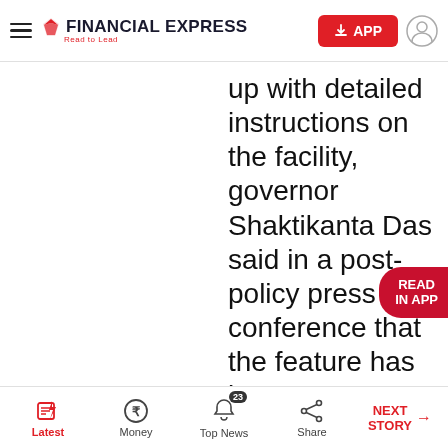FINANCIAL EXPRESS — Read to Lead
up with detailed instructions on the facility, governor Shaktikanta Das said in a post-policy press conference that the feature has been
[Figure (screenshot): READ IN APP badge overlay]
Latest | Money | Top News (23) | Share | NEXT STORY